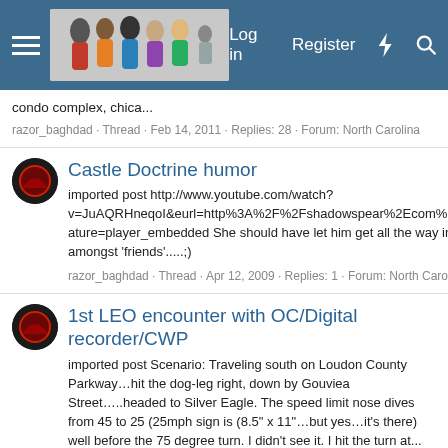Log in   Register
condo complex, chica...
razor_baghdad · Thread · Feb 14, 2011 · Replies: 28 · Forum: North Carolina
Castle Doctrine humor
imported post http://www.youtube.com/watch?v=JuAQRHneqoI&eurl=http%3A%2F%2Fshadowspear%2Ecom%2Fvb%2Fshowthread%2Ephp%3Ft%3D13134%26page%3D12&feature=player_embedded She should have let him get all the way inside....:cuss: Just moved back to Faynam....it's good to be back amongst 'friends'.....;)
razor_baghdad · Thread · Apr 12, 2009 · Replies: 1 · Forum: North Carolina
1st LEO encounter with OC/Digital recorder/CWP
imported post Scenario: Traveling south on Loudon County Parkway…hit the dog-leg right, down by Gouviea Street…..headed to Silver Eagle. The speed limit nose dives from 45 to 25 (25mph sign is (8.5" x 11"…but yes…it's there) well before the 75 degree turn. I didn't see it. I hit the turn at...